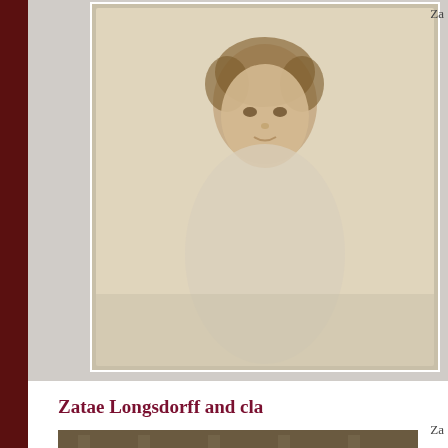[Figure (photo): Vintage portrait photograph of a young child with curly hair, faded sepia tone, shown from chest up against a plain background. White border frame visible.]
Za
Zatae Longsdorff and cla
Za
[Figure (photo): Vintage group photograph of a large class of students (mostly boys) posed in front of a building, sepia tone.]